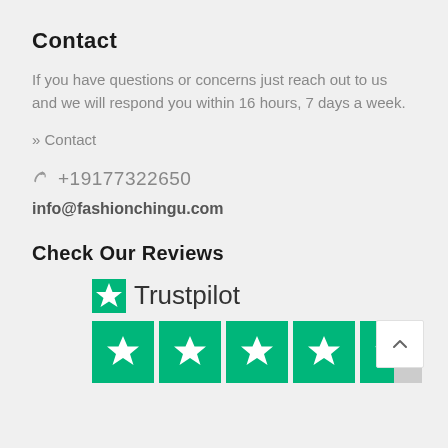Contact
If you have questions or concerns just reach out to us and we will respond you within 16 hours, 7 days a week.
» Contact
+19177322650
info@fashionchingu.com
Check Our Reviews
[Figure (logo): Trustpilot logo with green star and text 'Trustpilot', followed by 5 green rating star boxes (4 full, 1 partial)]